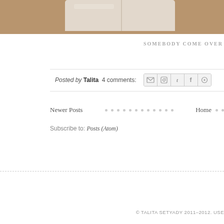[Figure (photo): Partial view of a wooden cutting board on a wooden table surface, cropped at top of page]
SOMEBODY COME OVER
Posted by Talita   4 comments:
Newer Posts   Home
Subscribe to: Posts (Atom)
© TALITA SETYADY 2011-2012. USE